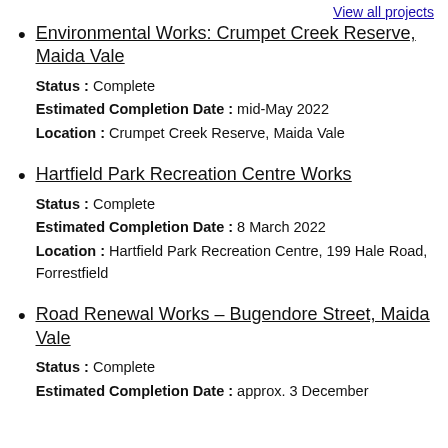View all projects
Environmental Works: Crumpet Creek Reserve, Maida Vale
Status: Complete
Estimated Completion Date: mid-May 2022
Location: Crumpet Creek Reserve, Maida Vale
Hartfield Park Recreation Centre Works
Status: Complete
Estimated Completion Date: 8 March 2022
Location: Hartfield Park Recreation Centre, 199 Hale Road, Forrestfield
Road Renewal Works – Bugendore Street, Maida Vale
Status: Complete
Estimated Completion Date: approx. 3 December